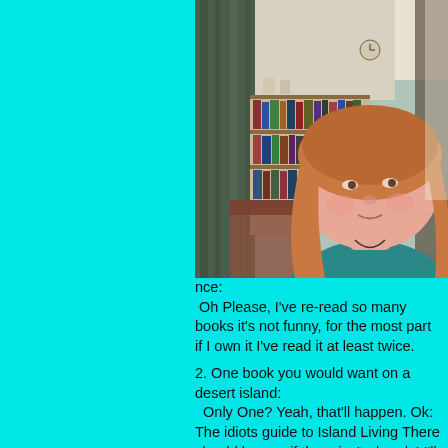[Figure (photo): A woman with red/strawberry blonde hair wearing a teal shirt, photographed indoors with a bookshelf and curtains visible in the background. Low-resolution webcam-style photo.]
nce:
 Oh Please, I've re-read so many books it's not funny, for the most part if I own it I've read it at least twice.

2. One book you would want on a desert island:
  Only One? Yeah, that'll happen. Ok: The idiots guide to Island Living There should be one if there isn't already! I'll take any good, large survivalist manual in a pinch though